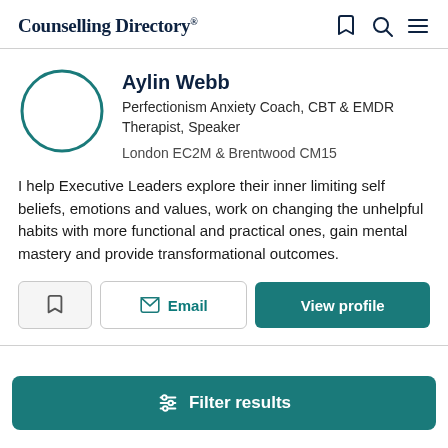Counselling Directory
Aylin Webb
Perfectionism Anxiety Coach, CBT & EMDR Therapist, Speaker
London EC2M & Brentwood CM15
I help Executive Leaders explore their inner limiting self beliefs, emotions and values, work on changing the unhelpful habits with more functional and practical ones, gain mental mastery and provide transformational outcomes.
Email
View profile
Filter results